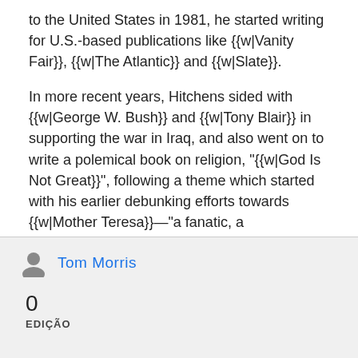to the United States in 1981, he started writing for U.S.-based publications like {{w|Vanity Fair}}, {{w|The Atlantic}} and {{w|Slate}}.
In more recent years, Hitchens sided with {{w|George W. Bush}} and {{w|Tony Blair}} in supporting the war in Iraq, and also went on to write a polemical book on religion, "{{w|God Is Not Great}}", following a theme which started with his earlier debunking efforts towards {{w|Mother Teresa}}—"a fanatic, a fundamentalist, and a fraud" according to Hitchens. The death of {{w|Jerry Falwell}}
Tom Morris
0
EDIÇÃO